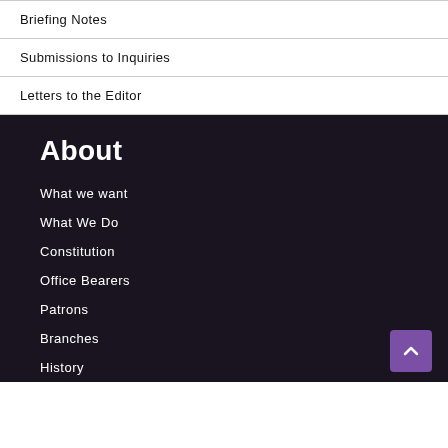Briefing Notes
Submissions to Inquiries
Letters to the Editor
About
What we want
What We Do
Constitution
Office Bearers
Patrons
Branches
History